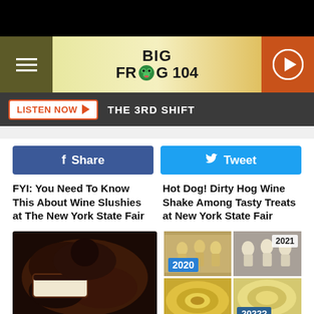[Figure (screenshot): Black top bar]
[Figure (logo): Big Frog 104 radio station logo with hamburger menu on left and play button on right]
LISTEN NOW ► THE 3RD SHIFT
[Figure (screenshot): Facebook Share button]
[Figure (screenshot): Twitter Tweet button]
FYI: You Need To Know This About Wine Slushies at The New York State Fair
Hot Dog! Dirty Hog Wine Shake Among Tasty Treats at New York State Fair
[Figure (photo): Chocolate dessert with cream filling at the New York State Fair]
[Figure (photo): Collage of NY State Fair butter sculptures with 2020, 2021 and 2022? labels]
Ohhh, Docter! New Delicious
Introducing The 2022 NYS